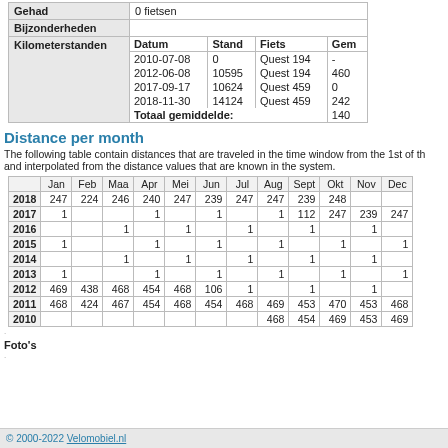| Gehad | 0 fietsen |
| Bijzonderheden |  |
| Kilometerstanden | Datum | Stand | Fiets | Gem
2010-07-08 | 0 | Quest 194 | -
2012-06-08 | 10595 | Quest 194 | 460
2017-09-17 | 10624 | Quest 459 | 0
2018-11-30 | 14124 | Quest 459 | 242
Totaal gemiddelde: | | | 140 |
Distance per month
The following table contain distances that are traveled in the time window from the 1st of th and interpolated from the distance values that are known in the system.
|  | Jan | Feb | Maa | Apr | Mei | Jun | Jul | Aug | Sept | Okt | Nov | Dec |
| --- | --- | --- | --- | --- | --- | --- | --- | --- | --- | --- | --- | --- |
| 2018 | 247 | 224 | 246 | 240 | 247 | 239 | 247 | 247 | 239 | 248 |  |  |
| 2017 | 1 |  |  | 1 |  | 1 |  | 1 | 112 | 247 | 239 | 247 |
| 2016 |  |  | 1 |  | 1 |  | 1 |  | 1 |  | 1 |  |
| 2015 | 1 |  |  | 1 |  | 1 |  | 1 |  | 1 |  | 1 |
| 2014 |  |  | 1 |  | 1 |  | 1 |  | 1 |  | 1 |  |
| 2013 | 1 |  |  | 1 |  | 1 |  | 1 |  | 1 |  | 1 |
| 2012 | 469 | 438 | 468 | 454 | 468 | 106 | 1 |  | 1 |  | 1 |  |
| 2011 | 468 | 424 | 467 | 454 | 468 | 454 | 468 | 469 | 453 | 470 | 453 | 468 |
| 2010 |  |  |  |  |  |  |  | 468 | 454 | 469 | 453 | 469 |
.
Foto's
.
© 2000-2022 Velomobiel.nl